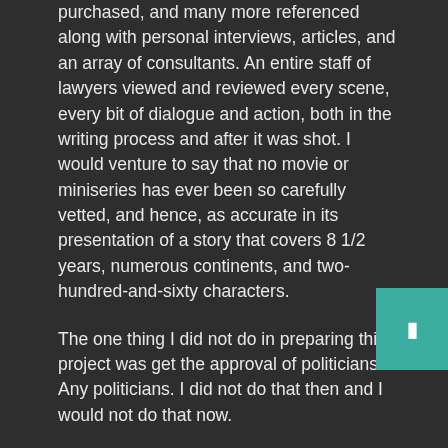purchased, and many more referenced along with personal interviews, articles, and an array of consultants. An entire staff of lawyers viewed and reviewed every scene, every bit of dialogue and action, both in the writing process and after it was shot. I would venture to say that no movie or miniseries has ever been so carefully vetted, and hence, as accurate in its presentation of a story that covers 8 1/2 years, numerous continents, and two- hundred-and-sixty characters.

The one thing I did not do in preparing this project was get the approval of politicians. Any politicians. I did not do that then and I would not do that now.